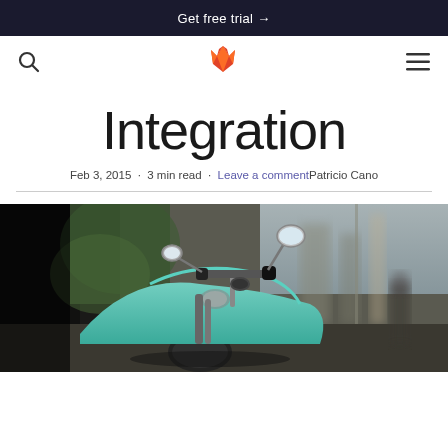Get free trial →
[Figure (logo): GitLab fox logo in orange]
Integration
Feb 3, 2015 · 3 min read · Leave a comment Patricio Cano
[Figure (photo): Close-up photo of a green/mint colored scooter/motorcycle handlebar area on a city street with blurred background]